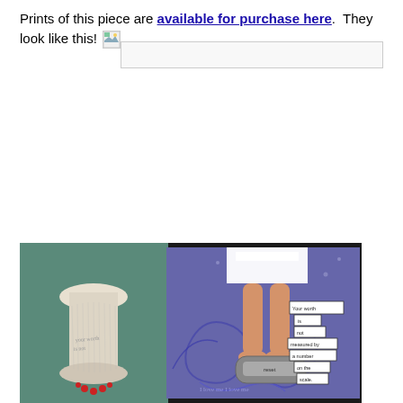Prints of this piece are available for purchase here. They look like this!
[Figure (photo): A photograph showing two artworks side by side on a dark background. On the left is a white ceramic or plaster vase/sculpture with text and red berries. On the right is a mixed media artwork on a purple background showing a pair of legs standing on a bathroom scale, with cut-out paper labels reading 'Your worth is not measured by a number on the scale.']